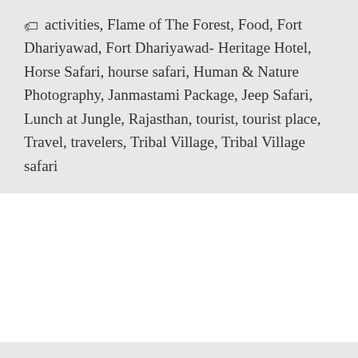activities, Flame of The Forest, Food, Fort Dhariyawad, Fort Dhariyawad- Heritage Hotel, Horse Safari, hourse safari, Human & Nature Photography, Janmastami Package, Jeep Safari, Lunch at Jungle, Rajasthan, tourist, tourist place, Travel, travelers, Tribal Village, Tribal Village safari
By fortdhariyawad
CELEBRATION OF WORLD PHOTOGRAPHY D
“You don’t take a photograph, you make it.” Happy World Photography Day 2k18